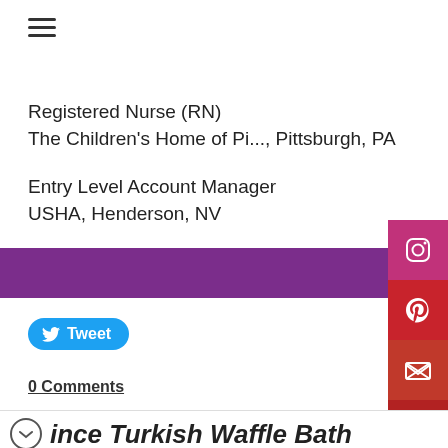≡ (hamburger menu)
Registered Nurse (RN)
The Children's Home of Pi..., Pittsburgh, PA
Entry Level Account Manager
USHA, Henderson, NV
View More Jobs
Tweet
0 Comments
[Figure (screenshot): Social media sidebar icons: Instagram (pink/magenta), Pinterest (red), Email/envelope (red), YouTube (dark red)]
ince Turkish Waffle Bath
[Figure (photo): Advertisement banner: 'Download Helbiz and ride' text over a dark photo of someone riding an electric scooter]